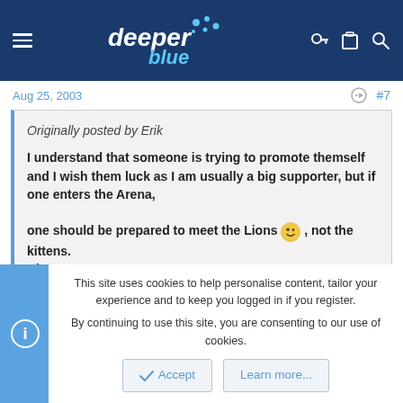deeper blue — navigation header
Aug 25, 2003  #7
Originally posted by Erik

I understand that someone is trying to promote themself and I wish them luck as I am usually a big supporter, but if one enters the Arena,

one should be prepared to meet the Lions 😉 , not the kittens.
Cheers,
Erik Y.
I agree completely with you, amigo.
For me, this is like a Circus. We all should respect all the others freediving organizations. Maybe the Eric formula is a beggining.
This site uses cookies to help personalise content, tailor your experience and to keep you logged in if you register.
By continuing to use this site, you are consenting to our use of cookies.
[Accept] [Learn more...]